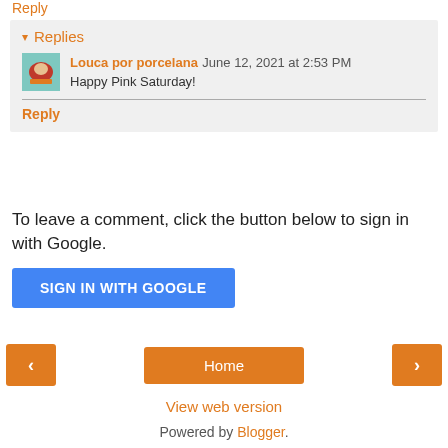Reply
▾ Replies
Louca por porcelana June 12, 2021 at 2:53 PM
Happy Pink Saturday!
Reply
To leave a comment, click the button below to sign in with Google.
SIGN IN WITH GOOGLE
‹
Home
›
View web version
Powered by Blogger.